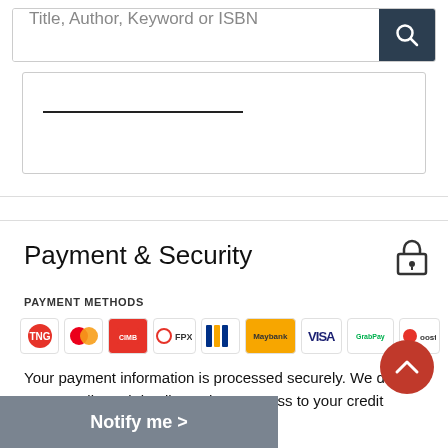Title, Author, Keyword or ISBN
[Figure (screenshot): Partial form input box with underline field]
Payment & Security
PAYMENT METHODS
[Figure (infographic): Payment method logos: Touch n Go, Mastercard, CIMB, FPX, Maybank2u, Maybank, Visa, GrabPay, Boost]
Your payment information is processed securely. We do not store credit card details nor have access to your credit information.
Notify me >